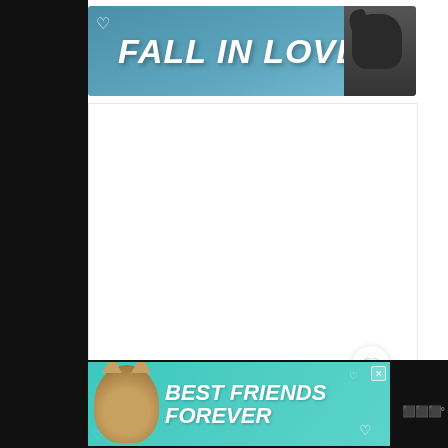[Figure (screenshot): Screenshot of a website page showing two advertisement banners and UI elements. Top banner is blue with 'FALL IN LOVE' text and a dog image. There is a white content area in the middle. Right side has a heart button, share button with count 3. A 'WHAT'S NEXT' widget shows '11 Shrimp Soup Recipe...' text. Bottom banner is teal/turquoise with a cat image and 'BEST FRIENDS FOREVER' text. Left and right bars are dark/black.]